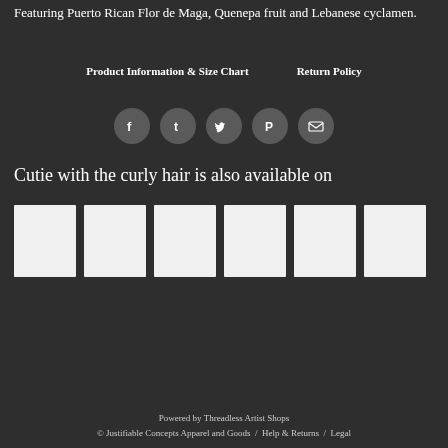Featuring Puerto Rican Flor de Maga, Quenepa fruit and Lebanese cyclamen.
Product Information & Size Chart   Return Policy
[Figure (illustration): Row of five circular social media icon buttons: Facebook, Tumblr, Twitter, Pinterest, Email — dark grey circles with white icons]
Cutie with the curly hair is also available on
[Figure (illustration): Six white/light grey rectangular product thumbnail images in a horizontal row]
Powered by Threadless Artist Shops
© Justifiable Concepts Apparel and Goods / Help & Returns / Legal